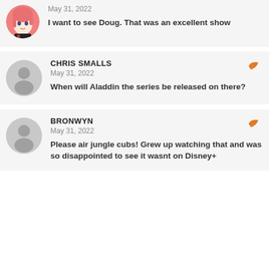May 31, 2022
I want to see Doug. That was an excellent show
CHRIS SMALLS
May 31, 2022
When will Aladdin the series be released on there?
BRONWYN
May 31, 2022
Please air jungle cubs! Grew up watching that and was so disappointed to see it wasnt on Disney+